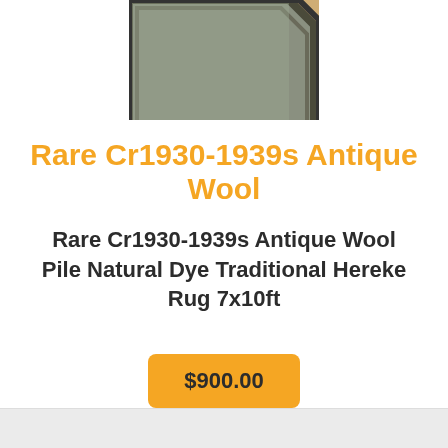[Figure (photo): Partial photo of a wool rug with decorative border, shown from corner angle on wooden floor]
Rare Cr1930-1939s Antique Wool
Rare Cr1930-1939s Antique Wool Pile Natural Dye Traditional Hereke Rug 7x10ft
$900.00